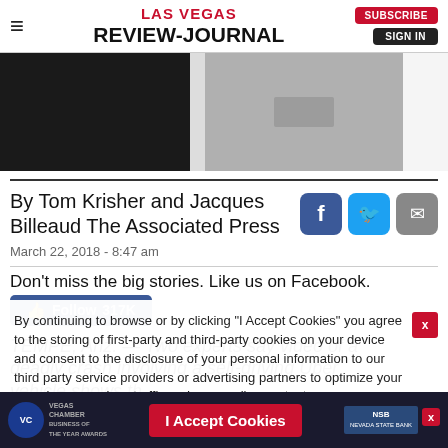LAS VEGAS REVIEW-JOURNAL | SUBSCRIBE | SIGN IN
[Figure (screenshot): Two dark/grayscale video still images side by side, likely from a dashcam or surveillance footage.]
By Tom Krisher and Jacques Billeaud The Associated Press
March 22, 2018 - 8:47 am
Don't miss the big stories. Like us on Facebook.
Follow 317K
TEMPE, Ariz. — Two experts say video of a deadly crash involving a self-driving Uber vehicle shows th—
By continuing to browse or by clicking "I Accept Cookies" you agree to the storing of first-party and third-party cookies on your device and consent to the disclosure of your personal information to our third party service providers or advertising partners to optimize your experience, analyze traffic and personalize content.
I Accept Cookies